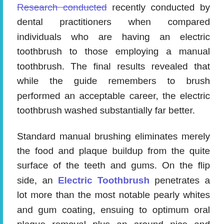Research conducted recently conducted by dental practitioners when compared individuals who are having an electric toothbrush to those employing a manual toothbrush. The final results revealed that while the guide remembers to brush performed an acceptable career, the electric toothbrush washed substantially far better.
Standard manual brushing eliminates merely the food and plaque buildup from the quite surface of the teeth and gums. On the flip side, an Electric Toothbrush penetrates a lot more than the most notable pearly whites and gum coating, ensuing to optimum oral plaque removal plus an around nice and clean oral cavity. One of many obvious features of an electric toothbrush is it moves speedier for further the teeth cleaning. Additionally, it...